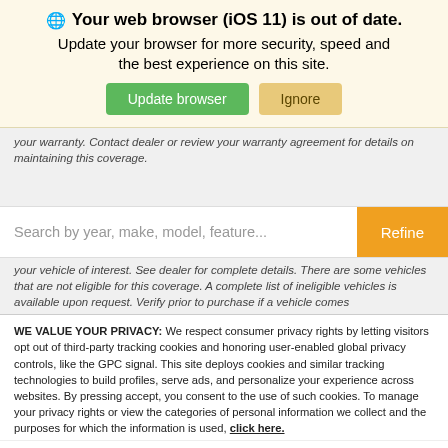[Figure (screenshot): Browser update notification banner with globe icon, bold title 'Your web browser (iOS 11) is out of date.', subtitle text, and two buttons: 'Update browser' (green) and 'Ignore' (tan/yellow).]
your warranty. Contact dealer or review your warranty agreement for details on maintaining this coverage.
[Figure (screenshot): Search bar with placeholder text 'Search by year, make, model, feature...' and orange 'Refine' button on the right.]
your vehicle of interest. See dealer for complete details. There are some vehicles that are not eligible for this coverage. A complete list of ineligible vehicles is available upon request. Verify prior to purchase if a vehicle comes
WE VALUE YOUR PRIVACY: We respect consumer privacy rights by letting visitors opt out of third-party tracking cookies and honoring user-enabled global privacy controls, like the GPC signal. This site deploys cookies and similar tracking technologies to build profiles, serve ads, and personalize your experience across websites. By pressing accept, you consent to the use of such cookies. To manage your privacy rights or view the categories of personal information we collect and the purposes for which the information is used, click here.
Language: English ∨  Powered by ComplyAuto
Accept and Continue →    Privacy Policy    ×